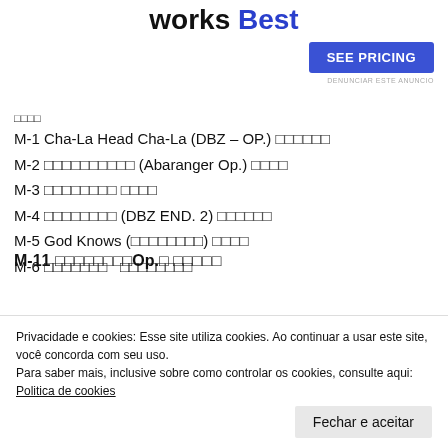works Best
[Figure (other): SEE PRICING button (blue rounded rectangle)]
DENUNCIAR ESTE ANUNCIO
□□□□
M-1 Cha-La Head Cha-La (DBZ – OP.) □□□□□□
M-2 □□□□□□□□□□ (Abaranger Op.) □□□□
M-3 □□□□□□□□ □□□□
M-4 □□□□□□□□ (DBZ END. 2) □□□□□□
M-5 God Knows (□□□□□□□□) □□□□
M-6 □□□□□□□　□□□□□□□□
Privacidade e cookies: Esse site utiliza cookies. Ao continuar a usar este site, você concorda com seu uso. Para saber mais, inclusive sobre como controlar os cookies, consulte aqui: Politica de cookies
M-11 □□□□□□□□Op.□ □□□□□